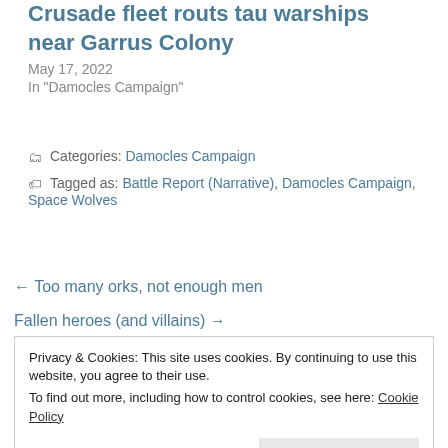Crusade fleet routs tau warships near Garrus Colony
May 17, 2022
In "Damocles Campaign"
Categories: Damocles Campaign
Tagged as: Battle Report (Narrative), Damocles Campaign, Space Wolves
← Too many orks, not enough men
Fallen heroes (and villains) →
Privacy & Cookies: This site uses cookies. By continuing to use this website, you agree to their use.
To find out more, including how to control cookies, see here: Cookie Policy
Close and accept
Your email address will not be published. Required